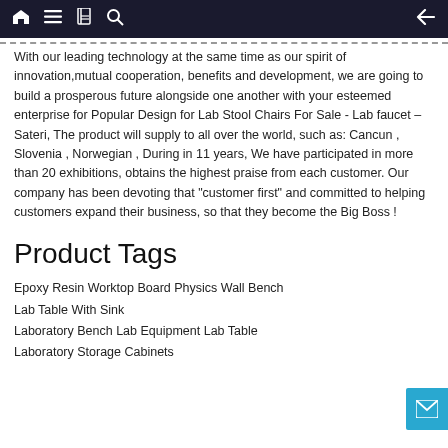Navigation bar with home, menu, book, search icons and back arrow
With our leading technology at the same time as our spirit of innovation,mutual cooperation, benefits and development, we are going to build a prosperous future alongside one another with your esteemed enterprise for Popular Design for Lab Stool Chairs For Sale - Lab faucet – Sateri, The product will supply to all over the world, such as: Cancun , Slovenia , Norwegian , During in 11 years, We have participated in more than 20 exhibitions, obtains the highest praise from each customer. Our company has been devoting that "customer first" and committed to helping customers expand their business, so that they become the Big Boss !
Product Tags
Epoxy Resin Worktop Board Physics Wall Bench
Lab Table With Sink
Laboratory Bench Lab Equipment Lab Table
Laboratory Storage Cabinets